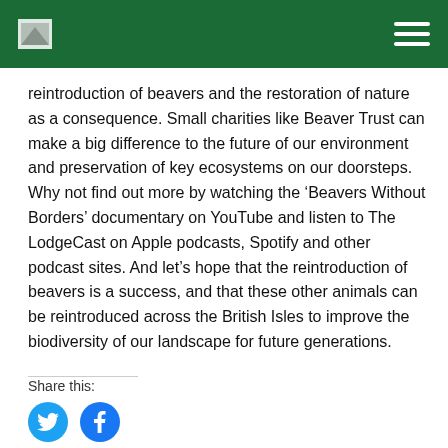[logo] [navigation menu]
reintroduction of beavers and the restoration of nature as a consequence. Small charities like Beaver Trust can make a big difference to the future of our environment and preservation of key ecosystems on our doorsteps. Why not find out more by watching the ‘Beavers Without Borders’ documentary on YouTube and listen to The LodgeCast on Apple podcasts, Spotify and other podcast sites. And let’s hope that the reintroduction of beavers is a success, and that these other animals can be reintroduced across the British Isles to improve the biodiversity of our landscape for future generations.
Share this:
[Figure (other): Twitter and Facebook share buttons (circular blue icons)]